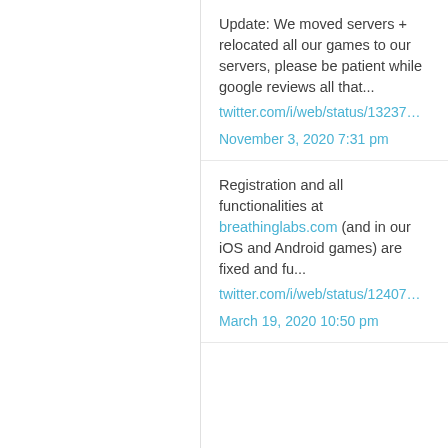Update: We moved servers + relocated all our games to our servers, please be patient while google reviews all that... twitter.com/i/web/status/13237...
November 3, 2020 7:31 pm
Registration and all functionalities at breathinglabs.com (and in our iOS and Android games) are fixed and fu... twitter.com/i/web/status/12407...
March 19, 2020 10:50 pm